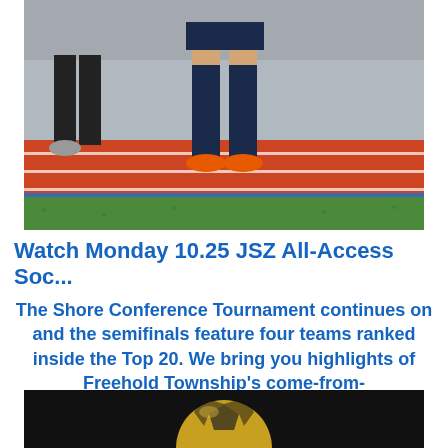[Figure (photo): Soccer player in dark uniform with navy socks and orange cleats walking on a track field. Another person in black pants visible in background. Red running track and green turf visible.]
Watch Monday 10.25 JSZ All-Access Soc...
The Shore Conference Tournament continues on and the semifinals feature four teams ranked inside the Top 20. We bring you highlights of Freehold Township's come-from-
[Figure (photo): Partial image of a soccer ball on a dark background, partially cropped at bottom of page.]